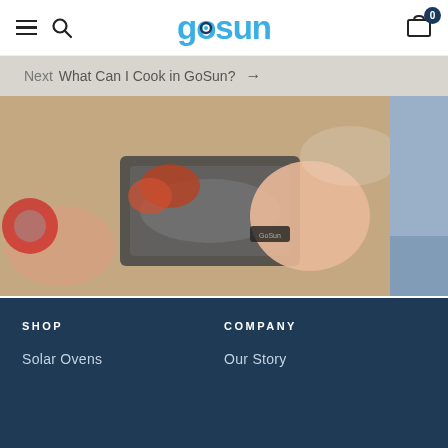gosun — navigation header with hamburger menu, search, logo, and cart (0 items)
Next  What Can I Cook in GoSun?  →
[Figure (photo): Person handling a GoSun solar oven with cooked food visible inside, outdoors]
What Can I Cook in GoSun?
All-S Any
SHOP  Solar Ovens | COMPANY  Our Story